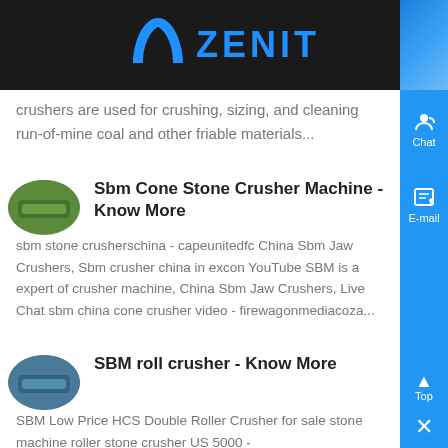[Figure (logo): Zenit company logo with blue arch/boomerang icon and ZENIT text in blue on dark background]
crushers are used for crushing, sizing, and cleaning run-of-mine coal and other friable materials...
Sbm Cone Stone Crusher Machine - Know More
sbm stone crusherschina - capeunitedfc China Sbm Jaw Crushers, Sbm crusher china in excon YouTube SBM is a expert of crusher machine, China Sbm Jaw Crushers, Live Chat sbm china cone crusher video - firewagonmediacoza...
SBM roll crusher - Know More
SBM Low Price HCS Double Roller Crusher for sale stone machine roller stone crusher US 5000 -